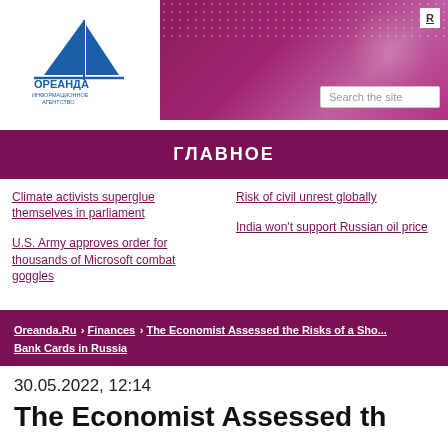[Figure (logo): Oreanda news agency logo with sailboat and Cyrillic text ОРЕАНДА ИНФОРМАЦИОННОЕ АГЕНТСТВО]
[Figure (other): Purple/magenta banner with bokeh light effects and dot pattern, with search field and button overlay]
ГЛАВНОЕ
Climate activists superglue themselves in parliament
Risk of civil unrest globally
U.S. Army approves order for thousands of Microsoft combat goggles
India won't support Russian oil price
Oreanda.Ru › Finances › The Economist Assessed the Risks of a Sho... Bank Cards in Russia
30.05.2022, 12:14
The Economist Assessed th...